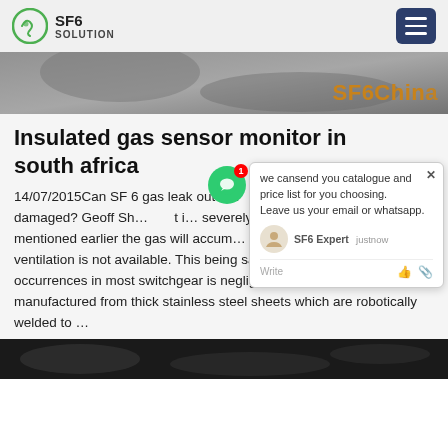SF6 SOLUTION
[Figure (screenshot): SF6 China banner image with dark background and orange text 'SF6China']
Insulated gas sensor monitor in south africa
14/07/2015Can SF 6 gas leak out o... it is mechanically damaged? Geoff Sh... t i... severely damaged; forming phy... mentioned earlier the gas will accum... lying places if natural ventilation is not available. This being said, the chance of such occurrences in most switchgear is negligible since the gas tanks are manufactured from thick stainless steel sheets which are robotically welded to ...
[Figure (screenshot): Dark background photo at bottom of page, partially visible]